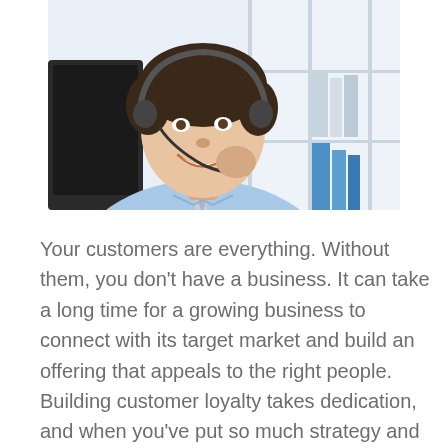[Figure (photo): A smiling young businessman wearing a light blue shirt and gray tie, talking on a headset while sitting in front of a computer monitor. Office shelving with binders is visible in the background.]
Your customers are everything. Without them, you don't have a business. It can take a long time for a growing business to connect with its target market and build an offering that appeals to the right people. Building customer loyalty takes dedication, and when you've put so much strategy and planning into gaining